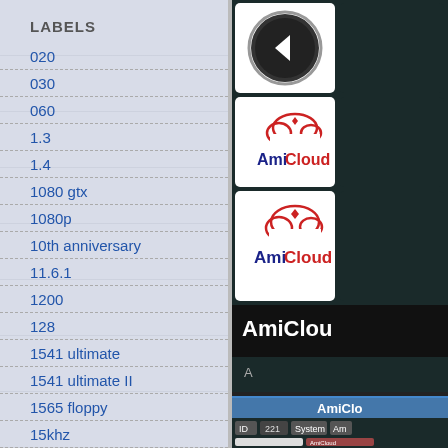LABELS
020
030
060
1.3
1.4
1080 gtx
1080p
10th anniversary
11.6.1
1200
128
1541 ultimate
1541 ultimate II
1565 floppy
15khz
165c
1992
[Figure (screenshot): AmiCloud application interface showing navigation grid with back button and AmiCloud logos, with title bar showing 'AmiCloud']
[Figure (screenshot): AmiCloud bottom panel showing ID: 221, System, Am tabs]